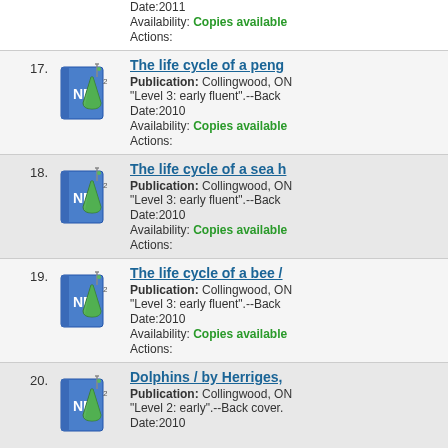Date:2011 Availability: Copies available Actions:
17. The life cycle of a peng... Publication: Collingwood, ON "Level 3: early fluent".--Back Date:2010 Availability: Copies available Actions:
18. The life cycle of a sea h... Publication: Collingwood, ON "Level 3: early fluent".--Back Date:2010 Availability: Copies available Actions:
19. The life cycle of a bee /... Publication: Collingwood, ON "Level 3: early fluent".--Back Date:2010 Availability: Copies available Actions:
20. Dolphins / by Herriges,... Publication: Collingwood, ON "Level 2: early".--Back cover. Date:2010